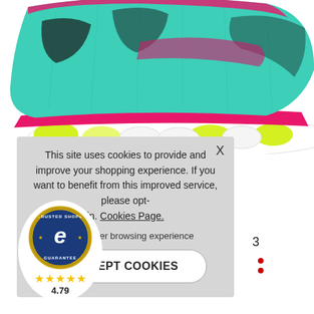[Figure (photo): Close-up photo of a teal/mint and pink athletic running shoe with yellow-green accents on the white sole, shown from a side angle cropped at the upper and mid-sole area.]
This site uses cookies to provide and improve your shopping experience. If you want to benefit from this improved service, please opt-in. Cookies Page.
in to a better browsing experience
ACCEPT COOKIES
[Figure (logo): Trusted Shops Guarantee badge — circular navy blue seal with gold border, white 'e' logo in center, text 'TRUSTED SHOPS' and 'GUARANTEE' around the ring. Five gold stars below with rating 4.79.]